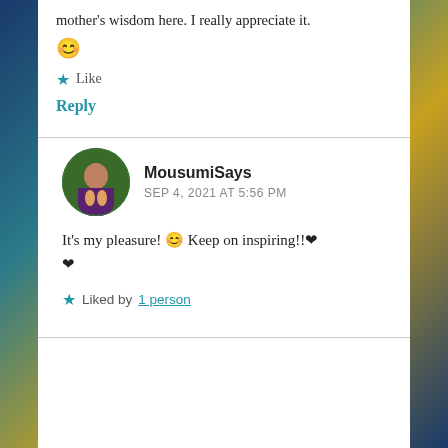mother's wisdom here. I really appreciate it. 😊
★ Like
Reply
MousumiSays
SEP 4, 2021 AT 5:56 PM
It's my pleasure! 😊 Keep on inspiring!!❤️ ❤️
★ Liked by 1 person